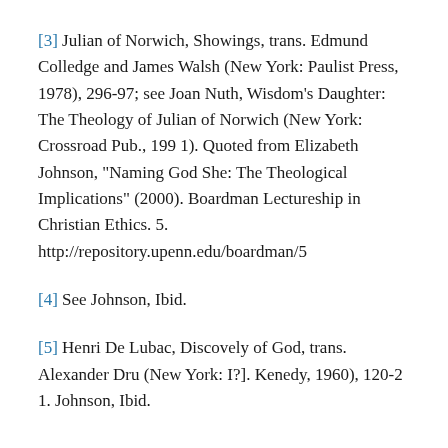[3] Julian of Norwich, Showings, trans. Edmund Colledge and James Walsh (New York: Paulist Press, 1978), 296-97; see Joan Nuth, Wisdom's Daughter: The Theology of Julian of Norwich (New York: Crossroad Pub., 199 1). Quoted from Elizabeth Johnson, “Naming God She: The Theological Implications” (2000). Boardman Lectureship in Christian Ethics. 5. http://repository.upenn.edu/boardman/5
[4] See Johnson, Ibid.
[5] Henri De Lubac, Discovely of God, trans. Alexander Dru (New York: I?]. Kenedy, 1960), 120-2 1. Johnson, Ibid.